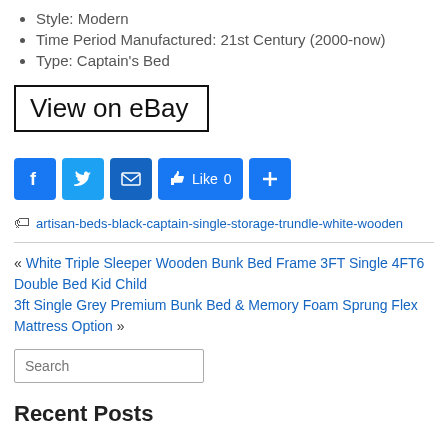Style: Modern
Time Period Manufactured: 21st Century (2000-now)
Type: Captain's Bed
[Figure (other): View on eBay button with black border]
[Figure (other): Social sharing icons: Facebook, Twitter, Email, Like 0, Plus]
artisan-beds-black-captain-single-storage-trundle-white-wooden
« White Triple Sleeper Wooden Bunk Bed Frame 3FT Single 4FT6 Double Bed Kid Child
3ft Single Grey Premium Bunk Bed & Memory Foam Sprung Flex Mattress Option »
Search
Recent Posts